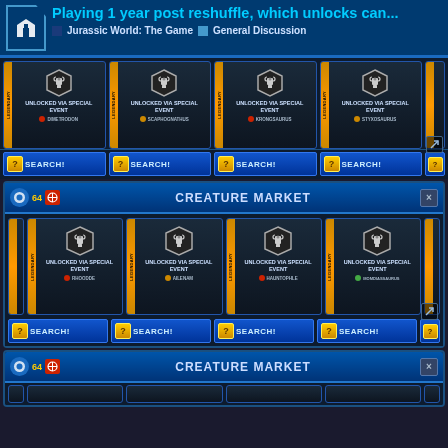Playing 1 year post reshuffle, which unlocks can... | Jurassic World: The Game | General Discussion
[Figure (screenshot): Game UI screenshot showing Creature Market panels with locked legendary creatures. Top partial panel shows: DIMETRODON, SCAPHOGNATHUS, KRONGSAURUS, STYXOSAURUS - all UNLOCKED VIA SPECIAL EVENT with SEARCH! buttons. Middle full panel is CREATURE MARKET with RHOODDE, AILENAM, HAUNTOPHLE, HOMDIAGSAURUS locked creatures. Bottom partial panel shows another CREATURE MARKET header.]